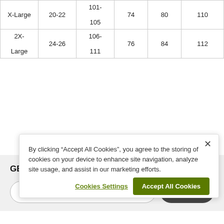| X-Large | 20-22 | 101-
105 | 74 | 80 | 110 |
| 2X-
Large | 24-26 | 106-
111 | 76 | 84 | 112 |
GET EXCLUSIVE OFFERS:
Email Address  Subscribe
By clicking "Accept All Cookies", you agree to the storing of cookies on your device to enhance site navigation, analyze site usage, and assist in our marketing efforts.
Cookies Settings  Accept All Cookies